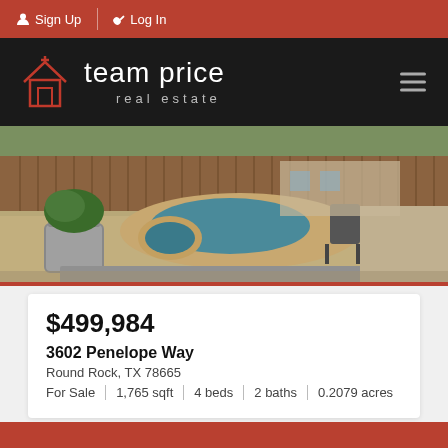Sign Up | Log In
[Figure (logo): Team Price Real Estate logo with house icon on dark background, hamburger menu icon on right]
[Figure (photo): Backyard photo showing a circular pool/spa with gravel landscaping, wooden fence, and outdoor equipment]
$499,984
3602 Penelope Way
Round Rock, TX 78665
For Sale | 1,765 sqft | 4 beds | 2 baths | 0.2079 acres